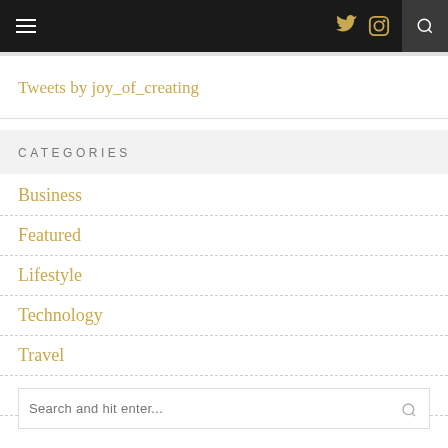Navigation header with hamburger menu, Twitter icon, Instagram icon, and search icon
Tweets by joy_of_creating
CATEGORIES
Business
Featured
Lifestyle
Technology
Travel
Uncategorized
Search and hit enter...